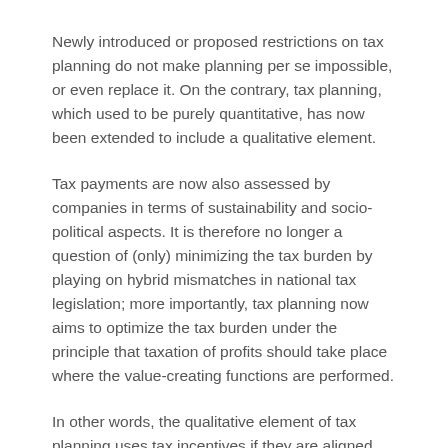Newly introduced or proposed restrictions on tax planning do not make planning per se impossible, or even replace it. On the contrary, tax planning, which used to be purely quantitative, has now been extended to include a qualitative element.
Tax payments are now also assessed by companies in terms of sustainability and socio-political aspects. It is therefore no longer a question of (only) minimizing the tax burden by playing on hybrid mismatches in national tax legislation; more importantly, tax planning now aims to optimize the tax burden under the principle that taxation of profits should take place where the value-creating functions are performed.
In other words, the qualitative element of tax planning uses tax incentives if they are aligned with entrepreneurial value creation and business goals.